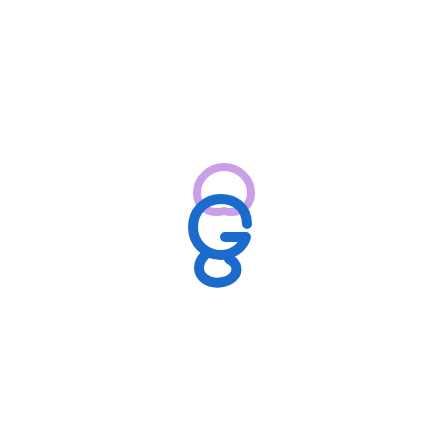[Figure (logo): A stylized logo consisting of a lavender/purple leaf or petal shape on top and a blue stylized letter G or S shape below, forming a combined icon mark.]